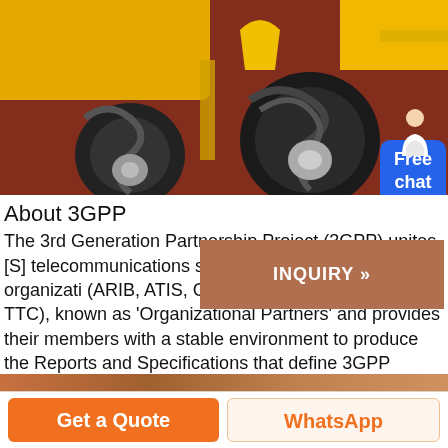[Figure (photo): Close-up photo of yellow construction machinery with black spiral auger/tiller attachment on a dark red/rust colored ground surface. A small avatar of a person in white coat is visible at the right edge.]
About 3GPP
The 3rd Generation Partnership Project (3GPP) unites [S] telecommunications standard development organizations (ARIB, ATIS, CCSA, ETSI, TSDSI, TTA, TTC), known as 'Organizational Partners' and provides their members with a stable environment to produce the Reports and Specifications that define 3GPP technologies.. The project covers cellular telecommunications ....